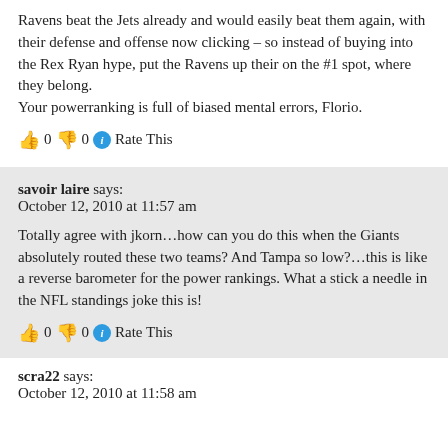Ravens beat the Jets already and would easily beat them again, with their defense and offense now clicking – so instead of buying into the Rex Ryan hype, put the Ravens up their on the #1 spot, where they belong.
Your powerranking is full of biased mental errors, Florio.
👍 0 👎 0 ℹ Rate This
savoir laire says:
October 12, 2010 at 11:57 am
Totally agree with jkorn…how can you do this when the Giants absolutely routed these two teams? And Tampa so low?…this is like a reverse barometer for the power rankings. What a stick a needle in the NFL standings joke this is!
👍 0 👎 0 ℹ Rate This
scra22 says:
October 12, 2010 at 11:58 am